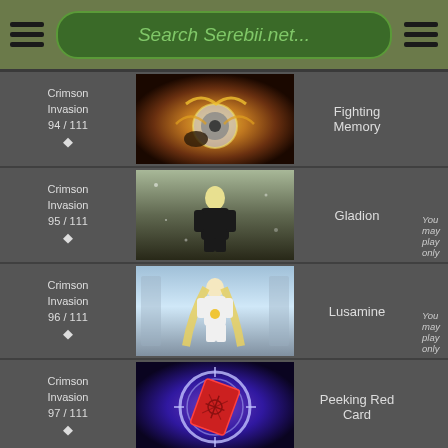Search Serebii.net...
Crimson Invasion 94 / 111 ♦
[Figure (photo): Pokemon TCG card art for Fighting Memory - showing a disc-like item with glowing energy]
Fighting Memory
Crimson Invasion 95 / 111 ♦
[Figure (photo): Pokemon TCG card art for Gladion - showing a young man with white hair in black outfit]
Gladion
You may play only
Crimson Invasion 96 / 111 ♦
[Figure (photo): Pokemon TCG card art for Lusamine - showing a blonde woman in white dress]
Lusamine
You may play only
Crimson Invasion 97 / 111 ♦
[Figure (photo): Pokemon TCG card art for Peeking Red Card - showing a red card with circular energy effect]
Peeking Red Card